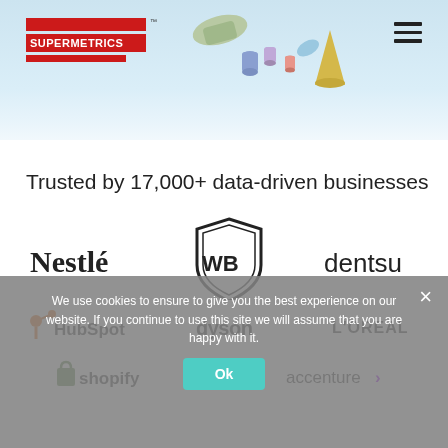[Figure (screenshot): Supermetrics logo with red bars and text on light blue hero background with 3D decorative shapes]
Trusted by 17,000+ data-driven businesses
[Figure (logo): Nestlé logo]
[Figure (logo): Warner Bros WB shield logo]
[Figure (logo): dentsu logo]
[Figure (logo): HubSpot logo]
[Figure (logo): dyson logo]
[Figure (logo): L'OREAL logo]
[Figure (logo): Shopify logo]
[Figure (logo): accenture logo]
We use cookies to ensure to give you the best experience on our website. If you continue to use this site we will assume that you are happy with it.